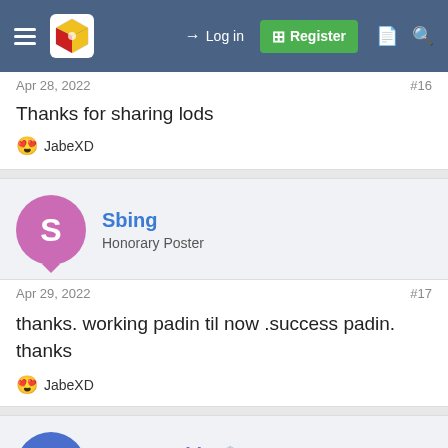Log in | Register
Apr 28, 2022  #16
Thanks for sharing lods
😍 JabeXD
Sbing
Honorary Poster
Apr 29, 2022  #17
thanks. working padin til now .success padin. thanks
😍 JabeXD
Kenspeckle 🏛️
Elite